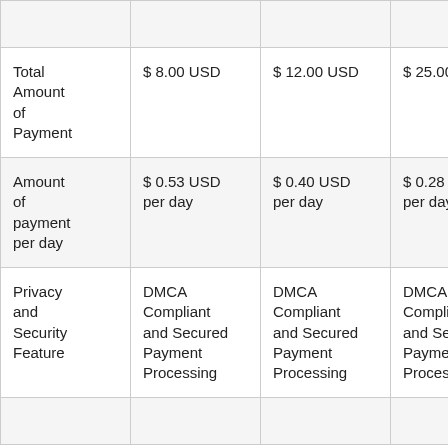|  |  |  |  |  |
| --- | --- | --- | --- | --- |
|  |  |  |  | $ |
| Total Amount of Payment | $ 8.00 USD | $ 12.00 USD | $ 25.00 USD | $ |
| Amount of payment per day | $ 0.53 USD per day | $ 0.40 USD per day | $ 0.28 USD per day | $ p |
| Privacy and Security Feature | DMCA Compliant and Secured Payment Processing | DMCA Compliant and Secured Payment Processing | DMCA Compliant and Secured Payment Processing | D C a P P |
|  |  |  |  |  |